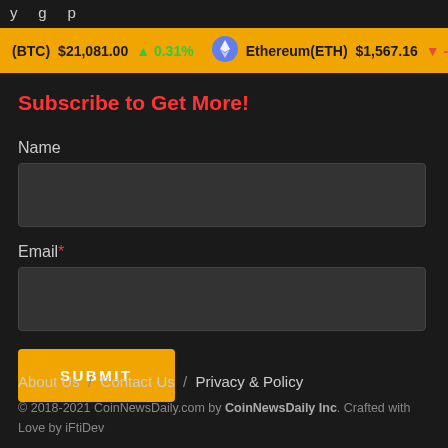y   g   p
(BTC) $21,081.00 ↑ 0.31% Ethereum(ETH) $1,567.16 ↓ -5.14%
Subscribe to Get More!
Name
Email*
SUBMIT
About Us / Contact Us / Privacy & Policy
© 2018-2021 CoinNewsDaily.com by CoinNewsDaily Inc. Crafted with Love by iFtiDev